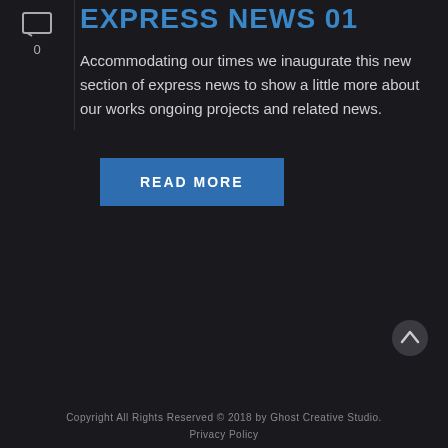EXPRESS NEWS 01
Accommodating our times we inaugurate this new section of express news to show a little more about our works ongoing projects and related news.
READ MORE
Copyright All Rights Reserved © 2018 by Ghost Creative Studio.
Privacy Policy